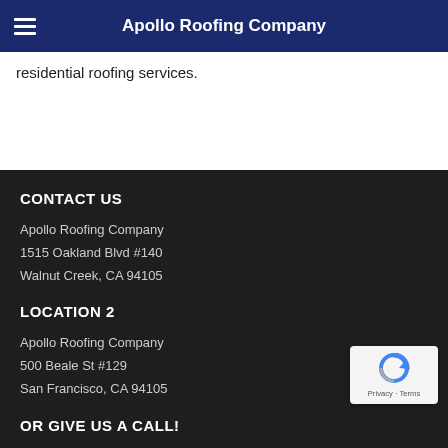Apollo Roofing Company
residential roofing services.
CONTACT US
Apollo Roofing Company
1515 Oakland Blvd #140
Walnut Creek, CA 94105
LOCATION 2
Apollo Roofing Company
500 Beale St #129
San Francisco, CA 94105
[Figure (other): reCAPTCHA badge with Privacy and Terms text]
OR GIVE US A CALL!